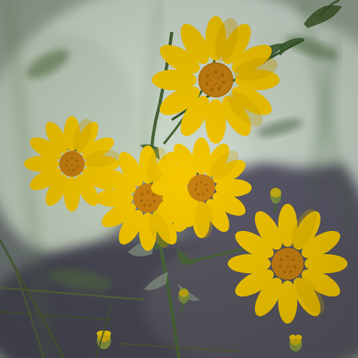[Figure (photo): Close-up photograph of multiple bright yellow daisy-like wildflowers (likely Senecio or similar species) with elongated petals and golden-yellow central disc florets, growing among green stems, leaves, and grasses with a blurred background of greens, whites, and grays.]